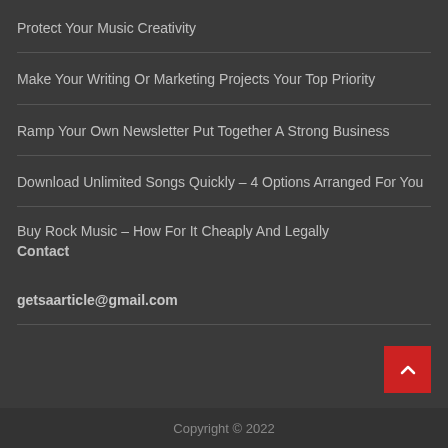Protect Your Music Creativity
Make Your Writing Or Marketing Projects Your Top Priority
Ramp Your Own Newsletter Put Together A Strong Business
Download Unlimited Songs Quickly – 4 Options Arranged For You
Buy Rock Music – How For It Cheaply And Legally
Contact
getsaarticle@gmail.com
Copyright © 2022